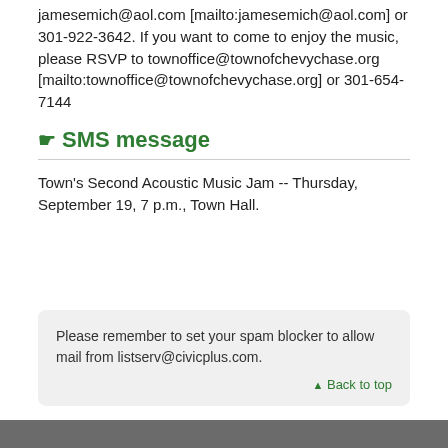jamesemich@aol.com [mailto:jamesemich@aol.com] or 301-922-3642. If you want to come to enjoy the music, please RSVP to townoffice@townofchevychase.org [mailto:townoffice@townofchevychase.org] or 301-654-7144
SMS message
Town's Second Acoustic Music Jam -- Thursday, September 19, 7 p.m., Town Hall.
Please remember to set your spam blocker to allow mail from listserv@civicplus.com.
▲ Back to top